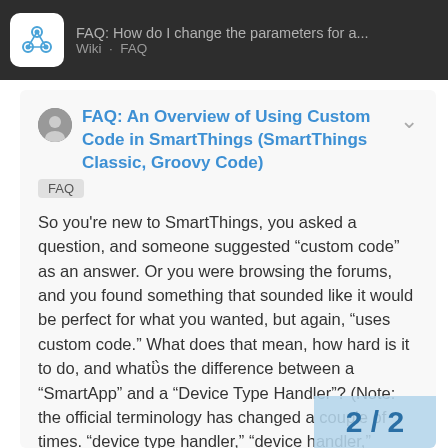FAQ: How do I change the parameters for a... Wiki FAQ
FAQ: An Overview of Using Custom Code in SmartThings (SmartThings Classic, Groovy Code)
FAQ
So you're new to SmartThings, you asked a question, and someone suggested “custom code” as an answer. Or you were browsing the forums, and you found something that sounded like it would be perfect for what you wanted, but again, “uses custom code.” What does that mean, how hard is it to do, and what’s the difference between a “SmartApp” and a “Device Type Handler”? (Note: the official terminology has changed a couple of times. “device type handler,” “device handler,” “DTH,” and “device type” all mean the same thing, and you will find all these terms used in the forums.) SECTION I: SMARTAPPS AND DEVICE HANDLERS: WHAT THEY ARE Tiny Programs to decide what a specific